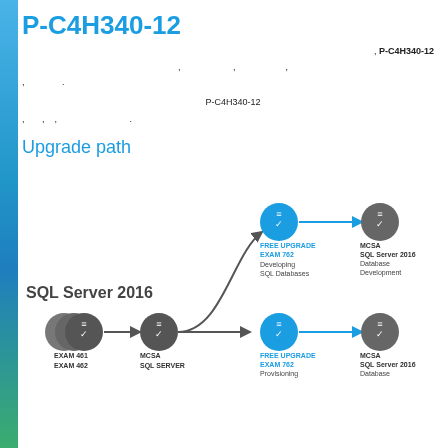P-C4H340-12
, P-C4H340-12
, , ,
, .
P-C4H340-12
, , , .
Upgrade path
[Figure (flowchart): SQL Server 2016 upgrade path diagram showing exam paths from EXAM 461/462 through MCSA SQL SERVER to FREE UPGRADE EXAM 762 (Developing SQL Databases) leading to MCSA SQL Server 2016 Database Development, and FREE UPGRADE EXAM 762 (Provisioning) leading to MCSA SQL Server 2016 Database]